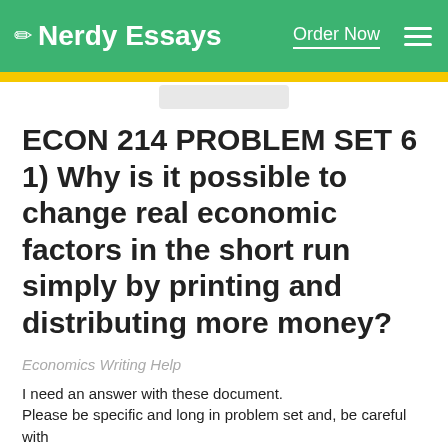Nerdy Essays  Order Now
ECON 214 PROBLEM SET 6 1) Why is it possible to change real economic factors in the short run simply by printing and distributing more money?
Economics Writing Help
I need an answer with these document. Please be specific and long in problem set and, be careful with